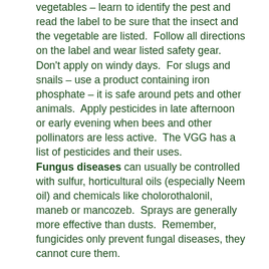vegetables – learn to identify the pest and read the label to be sure that the insect and the vegetable are listed.  Follow all directions on the label and wear listed safety gear.  Don't apply on windy days.  For slugs and snails – use a product containing iron phosphate – it is safe around pets and other animals.  Apply pesticides in late afternoon or early evening when bees and other pollinators are less active.  The VGG has a list of pesticides and their uses. Fungus diseases can usually be controlled with sulfur, horticultural oils (especially Neem oil) and chemicals like cholorothalonil, maneb or mancozeb.  Sprays are generally more effective than dusts.  Remember, fungicides only prevent fungal diseases, they cannot cure them.
8.      If you don't have room for a conventional vegetable garden